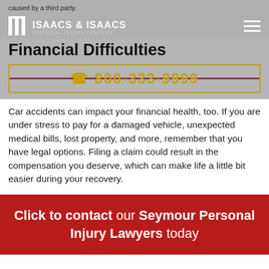caused by a third party.
[Figure (logo): Isaacs & Isaacs Personal Injury Lawyers logo with two pillars and hamburger menu icon]
Financial Difficulties
☎ 800-333-9999
Car accidents can impact your financial health, too. If you are under stress to pay for a damaged vehicle, unexpected medical bills, lost property, and more, remember that you have legal options. Filing a claim could result in the compensation you deserve, which can make life a little bit easier during your recovery.
Click to contact our Seymour Personal Injury Lawyers today